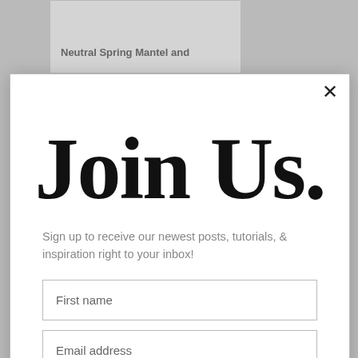[Figure (screenshot): Background webpage showing partially visible blog post card with text 'Neutral Spring Mantel and' at top, and another card at bottom]
[Figure (other): Modal popup overlay with close button (X), handwritten-style 'Join Us.' heading, subscription form with First name field, Email address field, and Subscribe button]
Join Us.
Sign up to receive our newest posts, tutorials, & inspiration right to your inbox!
First name
Email address
Subscribe